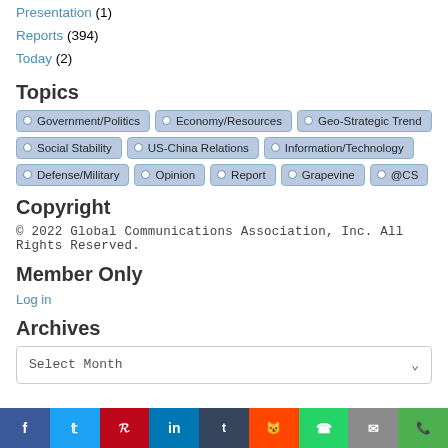Presentation (1)
Reports (394)
Today (2)
Topics
Government/Politics
Economy/Resources
Geo-Strategic Trend
Social Stability
US-China Relations
Information/Technology
Defense/Military
Opinion
Report
Grapevine
@CS
Copyright
© 2022 Global Communications Association, Inc. All Rights Reserved.
Member Only
Log in
Archives
Select Month